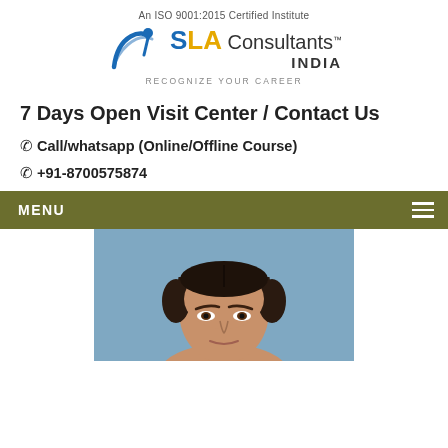[Figure (logo): SLA Consultants India logo with ISO certification text and tagline 'RECOGNIZE YOUR CAREER']
7 Days Open Visit Center / Contact Us
📞 Call/whatsapp (Online/Offline Course)
📞 +91-8700575874
MENU
[Figure (photo): Portrait photo of a woman with dark hair pulled back, against a blue background]